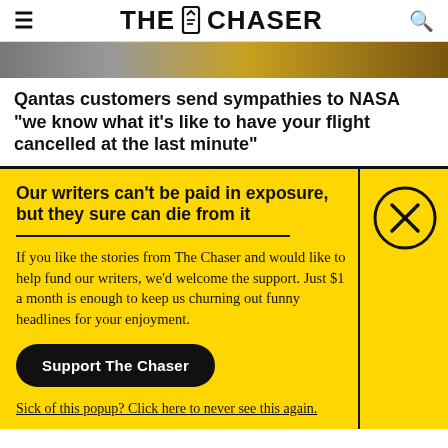THE CHASER
[Figure (photo): Partial photo strip showing blurred background scene]
Qantas customers send sympathies to NASA “we know what it’s like to have your flight cancelled at the last minute”
Our writers can't be paid in exposure, but they sure can die from it
If you like the stories from The Chaser and would like to help fund our writers, we’d welcome the support. Just $1 a month is enough to keep us churning out funny headlines for your enjoyment.
Support The Chaser
Sick of this popup? Click here to never see this again.